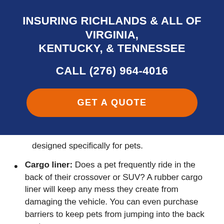INSURING RICHLANDS & ALL OF VIRGINIA, KENTUCKY, & TENNESSEE
CALL (276) 964-4016
GET A QUOTE
designed specifically for pets.
Cargo liner: Does a pet frequently ride in the back of their crossover or SUV? A rubber cargo liner will keep any mess they create from damaging the vehicle. You can even purchase barriers to keep pets from jumping into the back seat.